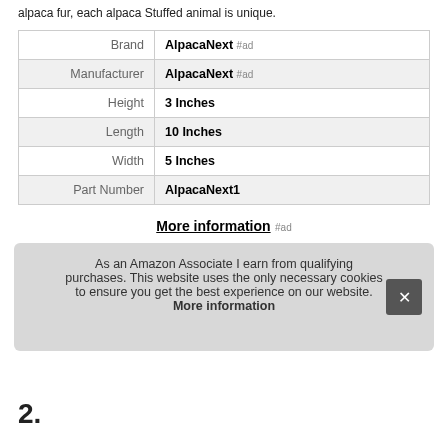alpaca fur, each alpaca Stuffed animal is unique.
| Brand | AlpacaNext #ad |
| Manufacturer | AlpacaNext #ad |
| Height | 3 Inches |
| Length | 10 Inches |
| Width | 5 Inches |
| Part Number | AlpacaNext1 |
More information #ad
As an Amazon Associate I earn from qualifying purchases. This website uses the only necessary cookies to ensure you get the best experience on our website. More information